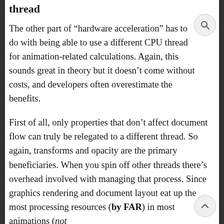thread
The other part of “hardware acceleration” has to do with being able to use a different CPU thread for animation-related calculations. Again, this sounds great in theory but it doesn’t come without costs, and developers often overestimate the benefits.
First of all, only properties that don’t affect document flow can truly be relegated to a different thread. So again, transforms and opacity are the primary beneficiaries. When you spin off other threads there’s overhead involved with managing that process. Since graphics rendering and document layout eat up the most processing resources (by FAR) in most animations (not